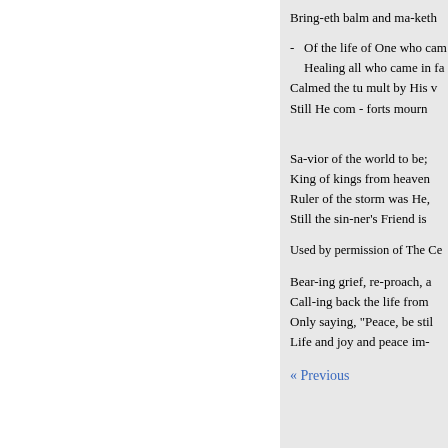Bring-eth balm and ma-keth
Of the life of One who cam
Healing all who came in fa
Calmed the tu mult by His v
Still He com - forts mourn
Sa-vior of the world to be;
King of kings from heaven 
Ruler of the storm was He,
Still the sin-ner's Friend is
Used by permission of The Ce
Bear-ing grief, re-proach, a
Call-ing back the life from
Only saying, "Peace, be stil
Life and joy and peace im-
« Previous